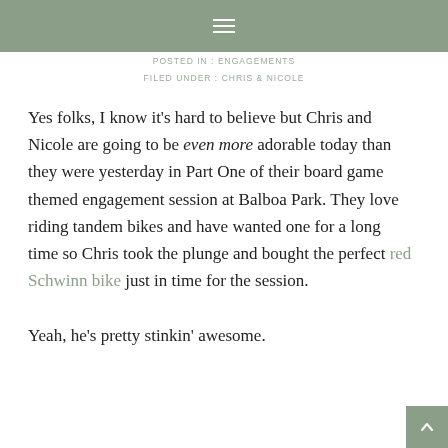≡
POSTED IN : ENGAGEMENTS
FILED UNDER : CHRIS & NICOLE
Yes folks, I know it's hard to believe but Chris and Nicole are going to be even more adorable today than they were yesterday in Part One of their board game themed engagement session at Balboa Park. They love riding tandem bikes and have wanted one for a long time so Chris took the plunge and bought the perfect red Schwinn bike just in time for the session.
Yeah, he's pretty stinkin' awesome.